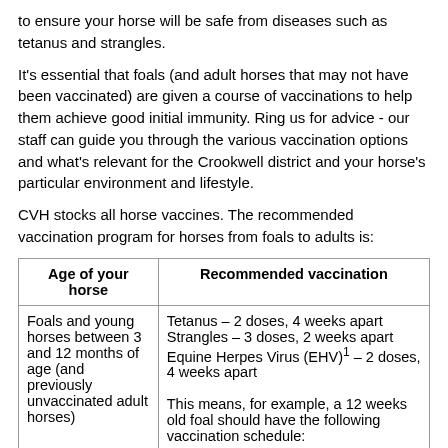to ensure your horse will be safe from diseases such as tetanus and strangles.
It's essential that foals (and adult horses that may not have been vaccinated) are given a course of vaccinations to help them achieve good initial immunity. Ring us for advice - our staff can guide you through the various vaccination options and what's relevant for the Crookwell district and your horse's particular environment and lifestyle.
CVH stocks all horse vaccines. The recommended vaccination program for horses from foals to adults is:
| Age of your horse | Recommended vaccination |
| --- | --- |
| Foals and young horses between 3 and 12 months of age (and previously unvaccinated adult horses) | Tetanus – 2 doses, 4 weeks apart
Strangles – 3 doses, 2 weeks apart
Equine Herpes Virus (EHV)¹ – 2 doses, 4 weeks apart

This means, for example, a 12 weeks old foal should have the following vaccination schedule: |